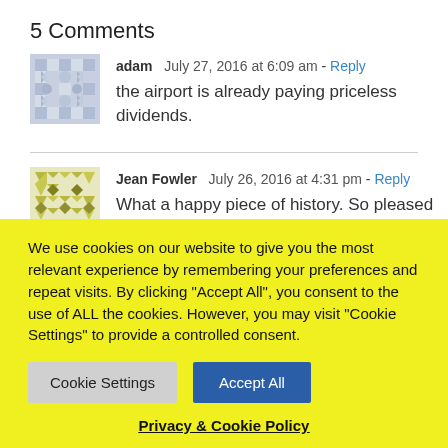5 Comments
adam  July 27, 2016 at 6:09 am - Reply
the airport is already paying priceless dividends.
Jean Fowler  July 26, 2016 at 4:31 pm - Reply
What a happy piece of history. So pleased that all went well for baby Eli. Beautiful family
We use cookies on our website to give you the most relevant experience by remembering your preferences and repeat visits. By clicking "Accept All", you consent to the use of ALL the cookies. However, you may visit "Cookie Settings" to provide a controlled consent.
Cookie Settings | Accept All
Privacy & Cookie Policy